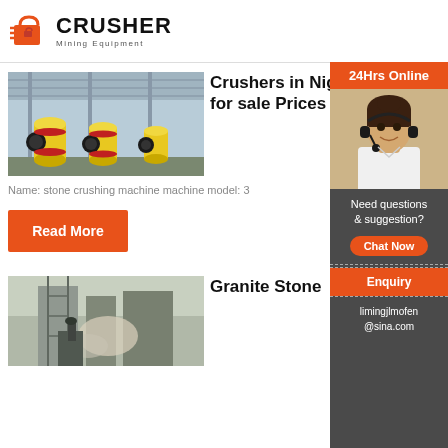[Figure (logo): Crusher Mining Equipment logo with red shopping bag icon and bold CRUSHER text]
[Figure (photo): Yellow cylindrical ball mills/crushers in a large industrial warehouse with steel roof]
Crushers in Nigeria for sale Prices on Jiji
Name: stone crushing machine machine model: 3
Read More
[Figure (photo): Industrial stone crusher/granite processing equipment with dust and machinery]
Granite Stone
[Figure (infographic): Sidebar with 24Hrs Online banner, customer service representative, Need questions & suggestion, Chat Now button, Enquiry section, limingjlmofen@sina.com email]